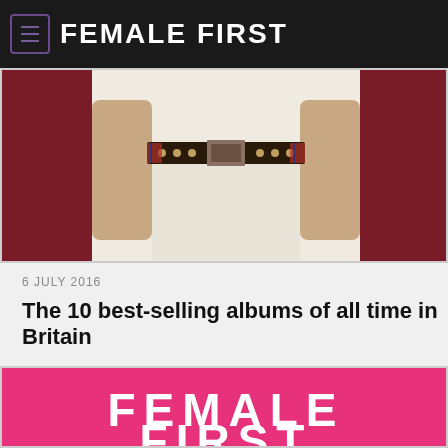FEMALE FIRST
[Figure (photo): Partial photo of a person wearing white shorts and a decorative belt, cropped to show torso/waist area with dark background]
6 JULY 2016
The 10 best-selling albums of all time in Britain
[Figure (logo): Female First logo on pink/magenta background with white text reading FEMALE FIRST]